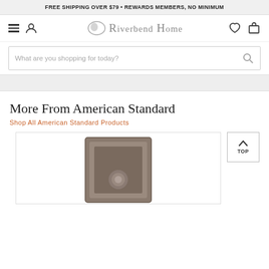FREE SHIPPING OVER $79 • REWARDS MEMBERS, NO MINIMUM
[Figure (logo): Riverbend Home logo with navigation icons: hamburger menu, user icon, heart/wishlist icon, and cart icon]
[Figure (screenshot): Search bar with placeholder text: What are you shopping for today?]
More From American Standard
Shop All American Standard Products
[Figure (photo): Product photo showing a square decorative door knob/hardware item in a bronze/pewter finish, partially cropped]